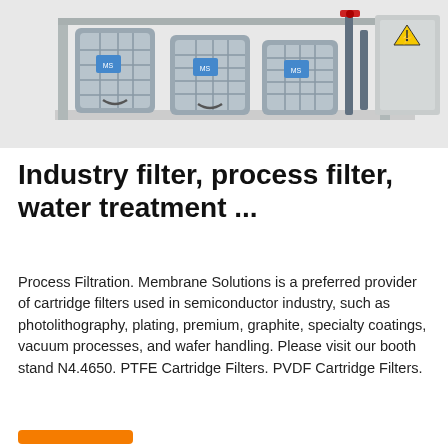[Figure (photo): Industrial water filtration system with multiple grey filter units and electrical cabinet, piping visible on the right side.]
Industry filter, process filter, water treatment ...
Process Filtration. Membrane Solutions is a preferred provider of cartridge filters used in semiconductor industry, such as photolithography, plating, premium, graphite, specialty coatings, vacuum processes, and wafer handling. Please visit our booth stand N4.4650. PTFE Cartridge Filters. PVDF Cartridge Filters.